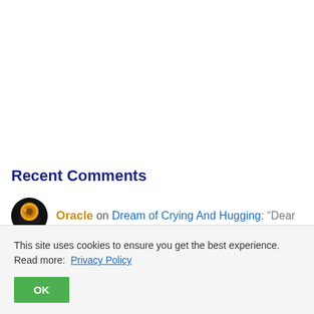Recent Comments
Oracle on Dream of Crying And Hugging: “Dear
This site uses cookies to ensure you get the best experience. Read more: Privacy Policy
OK